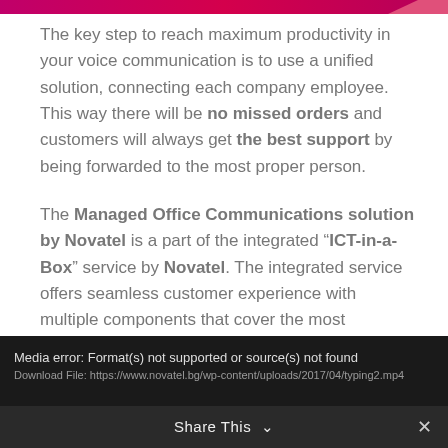The key step to reach maximum productivity in your voice communication is to use a unified solution, connecting each company employee. This way there will be no missed orders and customers will always get the best support by being forwarded to the most proper person.
The Managed Office Communications solution by Novatel is a part of the integrated "ICT-in-a-Box" service by Novatel. The integrated service offers seamless customer experience with multiple components that cover the most important parts of the IT infrastructure.
Media error: Format(s) not supported or source(s) not found
Download File: https://www.novatel.bg/wp-content/uploads/2017/04/typing2.mp4
Share This ∨  ✕